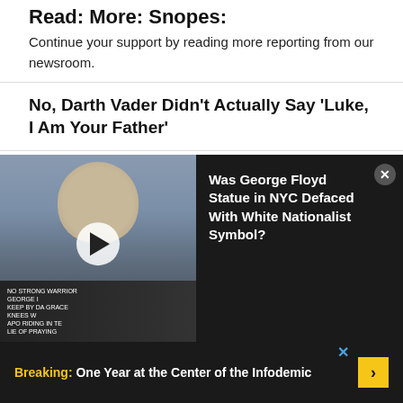Read: More: Snopes:
Continue your support by reading more reporting from our newsroom.
No, Darth Vader Didn't Actually Say 'Luke, I Am Your Father'
Who Were the Knocker-Uppers?
Do Cell Phones Emit More Radiation When Charging?
Yes, Photo Shows Flamingos in Zoo Bathroom
[Figure (screenshot): Video overlay showing a George Floyd statue with protest crowd below. Video play button visible. Title reads: Was George Floyd Statue in NYC Defaced With White Nationalist Symbol?]
Breaking: One Year at the Center of the Infodemic